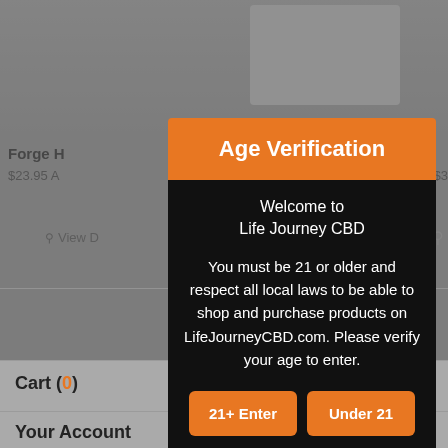[Figure (screenshot): E-commerce website background showing product listings including 'Forge H...' at $23.95 and 'HH...' at $3..., with a View Details button, overlaid with a dark semi-transparent overlay]
Age Verification
Welcome to
Life Journey CBD
You must be 21 or older and respect all local laws to be able to shop and purchase products on LifeJourneyCBD.com. Please verify your age to enter.
21+ Enter
Under 21
Cart (0)
Your Account